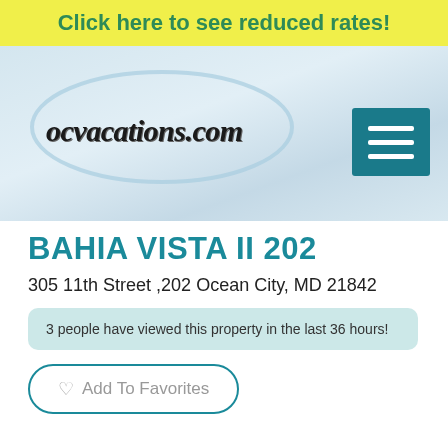Click here to see reduced rates!
[Figure (logo): ocvacations.com website header with logo text on light blue background with oval shape and hamburger menu icon]
BAHIA VISTA II 202
305 11th Street ,202 Ocean City, MD 21842
3 people have viewed this property in the last 36 hours!
Add To Favorites